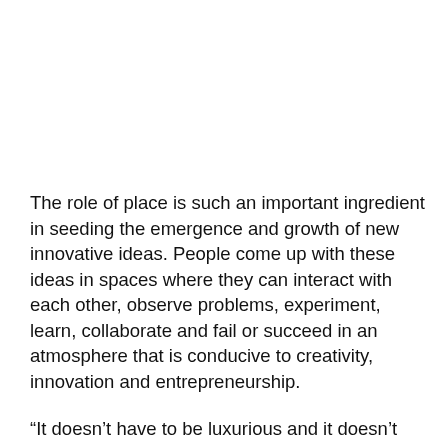The role of place is such an important ingredient in seeding the emergence and growth of new innovative ideas. People come up with these ideas in spaces where they can interact with each other, observe problems, experiment, learn, collaborate and fail or succeed in an atmosphere that is conducive to creativity, innovation and entrepreneurship.
“It doesn’t have to be luxurious and it doesn’t have to be large, but it does have to be pumping with the passion of the people involved,” Petr Adamek said whilst opening